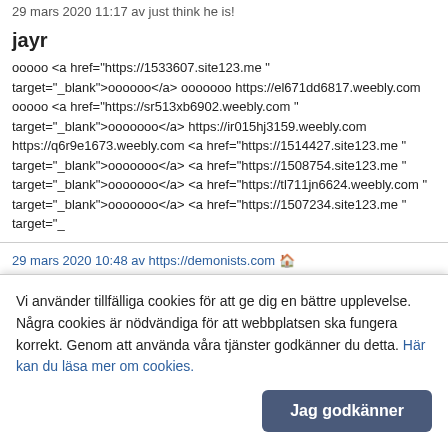29 mars 2020 11:17 av just think he is!
jayr
ооооо <a href="https://1533607.site123.me " target="_blank">оооооо</a> ооооооо https://el671dd6817.weebly.com ооооо <a href="https://sr513xb6902.weebly.com " target="_blank">ооооооо</a> https://ir015hj3159.weebly.com https://q6r9e1673.weebly.com <a href="https://1514427.site123.me " target="_blank">ооооооо</a> <a href="https://1508754.site123.me " target="_blank">ооооооо</a> <a href="https://tl711jn6624.weebly.com " target="_blank">ооооооо</a> <a href="https://1507234.site123.me " target="_
29 mars 2020 10:48 av https://demonists.com
https://demonists.com
<a href="https://minimining.com" title="ооооооо"> ооооо </a> <BR> <a
Vi använder tillfälliga cookies för att ge dig en bättre upplevelse. Några cookies är nödvändiga för att webbplatsen ska fungera korrekt. Genom att använda våra tjänster godkänner du detta. Här kan du läsa mer om cookies.
Jag godkänner